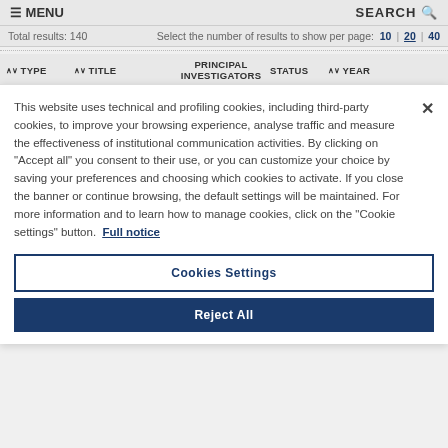≡ MENU   SEARCH 🔍
Total results: 140   Select the number of results to show per page: 10 | 20 | 40
| ∧∨ TYPE | ∧∨ TITLE | PRINCIPAL INVESTIGATORS | STATUS | ∧∨ YEAR |
| --- | --- | --- | --- | --- |
This website uses technical and profiling cookies, including third-party cookies, to improve your browsing experience, analyse traffic and measure the effectiveness of institutional communication activities. By clicking on "Accept all" you consent to their use, or you can customize your choice by saving your preferences and choosing which cookies to activate. If you close the banner or continue browsing, the default settings will be maintained. For more information and to learn how to manage cookies, click on the "Cookie settings" button. Full notice
Cookies Settings
Reject All